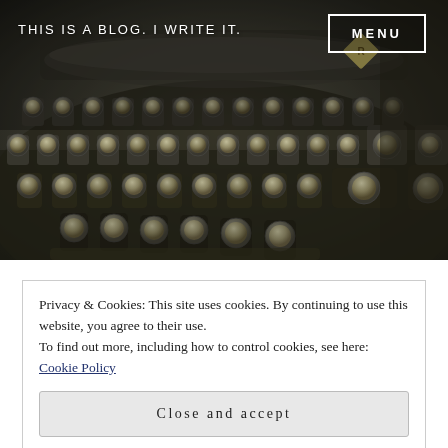[Figure (photo): Vintage typewriter keyboard close-up, sepia/dark toned photograph]
THIS IS A BLOG. I WRITE IT.
Privacy & Cookies: This site uses cookies. By continuing to use this website, you agree to their use.
To find out more, including how to control cookies, see here: Cookie Policy
Close and accept
NOVEMBER 18, 2015